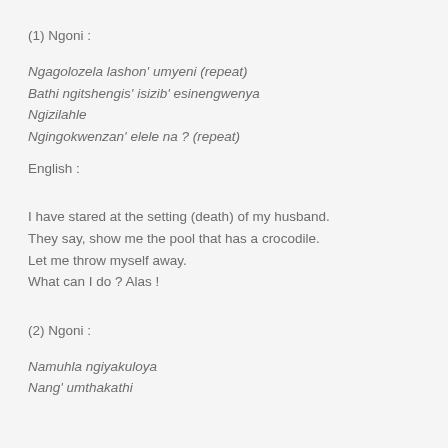(1) Ngoni :
Ngagolozela lashon' umyeni (repeat)
Bathi ngitshengis' isizib' esinengwenya
Ngizilahle
Ngingokwenzan' elele na ? (repeat)
English :
I have stared at the setting (death) of my husband.
They say, show me the pool that has a crocodile.
Let me throw myself away.
What can I do ? Alas !
(2) Ngoni :
Namuhla ngiyakuloya
Nang' umthakathi